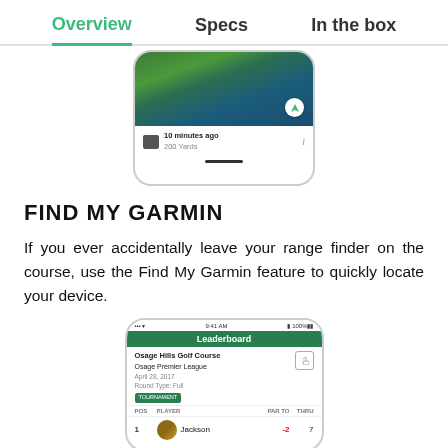Overview  Specs  In the box
[Figure (screenshot): Aerial view golf course map screenshot on a smartphone, showing '10 minutes ago / 200 Yards' tracking info]
FIND MY GARMIN
If you ever accidentally leave your range finder on the course, use the Find My Garmin feature to quickly locate your device.
[Figure (screenshot): Smartphone screenshot showing Leaderboard app screen for Osage Hills Golf Course, Osage Premier League, April 28, 2017, with player Jackson shown at position 1 with score -2 through 7]